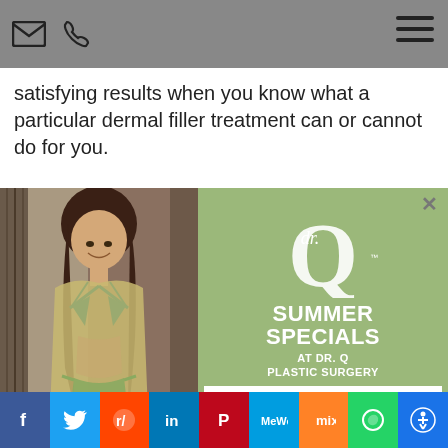[Figure (screenshot): Website screenshot showing a medical/plastic surgery page with navigation icons (email, phone, hamburger menu) at top, partial article text, a modal popup with a woman in a bikini on the left and Dr. Q Plastic Surgery Summer Specials advertisement on the right, and social sharing bar at the bottom]
satisfying results when you know what a particular dermal filler treatment can or cannot do for you.
SUMMER SPECIALS AT DR. Q PLASTIC SURGERY
LEARN MORE